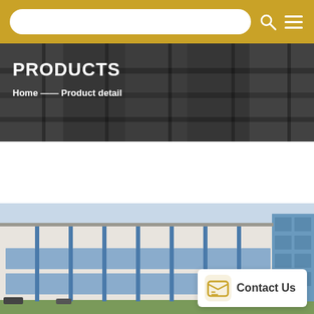Navigation bar with search box, search icon, and menu icon
PRODUCTS
Home —— Product detail
[Figure (photo): Industrial electrical substation or construction site with workers and equipment in background, serving as hero banner]
[Figure (photo): Exterior photograph of a large multi-story industrial or commercial building with white facade and blue-framed windows, approximately 3 stories tall]
Contact Us